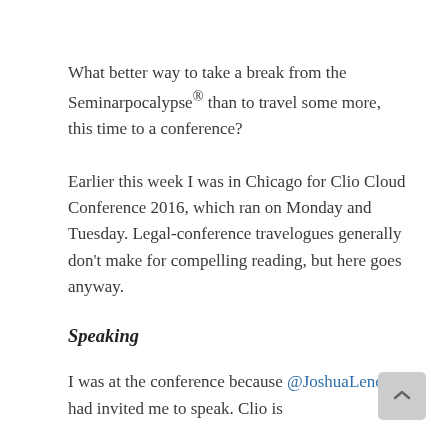What better way to take a break from the Seminarpocalypse® than to travel some more, this time to a conference?
Earlier this week I was in Chicago for Clio Cloud Conference 2016, which ran on Monday and Tuesday. Legal-conference travelogues generally don't make for compelling reading, but here goes anyway.
Speaking
I was at the conference because @JoshuaLenon had invited me to speak. Clio is